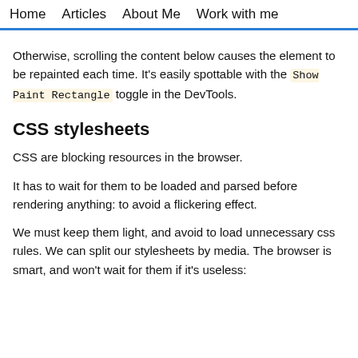Home  Articles  About Me  Work with me
Otherwise, scrolling the content below causes the element to be repainted each time. It's easily spottable with the Show Paint Rectangle toggle in the DevTools.
CSS stylesheets
CSS are blocking resources in the browser.
It has to wait for them to be loaded and parsed before rendering anything: to avoid a flickering effect.
We must keep them light, and avoid to load unnecessary css rules. We can split our stylesheets by media. The browser is smart, and won't wait for them if it's useless: